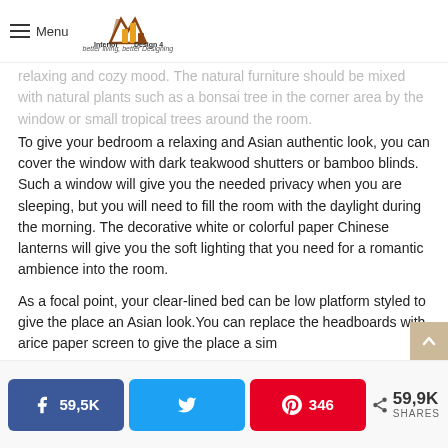Menu | Interior Design 4 — better living, better Designing
relaxing and cozy mood. The natural furniture should be mixed with natural plants such as a bonsai tree in the corner area by the window or small tropical trees around the room.
To give your bedroom a relaxing and Asian authentic look, you can cover the window with dark teakwood shutters or bamboo blinds. Such a window will give you the needed privacy when you are sleeping, but you will need to fill the room with the daylight during the morning. The decorative white or colorful paper Chinese lanterns will give you the soft lighting that you need for a romantic ambience into the room.
As a focal point, your clear-lined bed can be low platform styled to give the place an Asian look.You can replace the headboards with arice paper screen to give the place a sim
59,5K | 346 | 59,9K SHARES